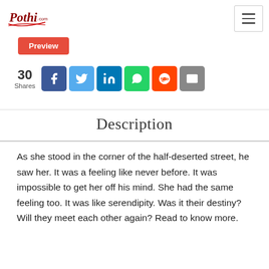Pothi.com
Preview
30 Shares
Description
As she stood in the corner of the half-deserted street, he saw her. It was a feeling like never before. It was impossible to get her off his mind. She had the same feeling too. It was like serendipity. Was it their destiny? Will they meet each other again? Read to know more.